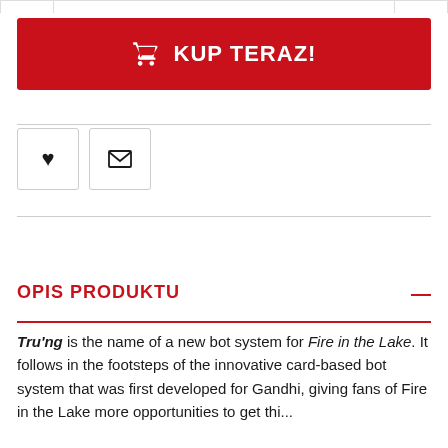[Figure (screenshot): Top navigation bar with left, middle, and right segments separated by borders]
KUP TERAZ!
[Figure (other): Heart icon button and envelope/mail icon button]
OPIS PRODUKTU
Tru'ng is the name of a new bot system for Fire in the Lake. It follows in the footsteps of the innovative card-based bot system that was first developed for Gandhi, giving fans of Fire in the Lake more opportunities to get thi...